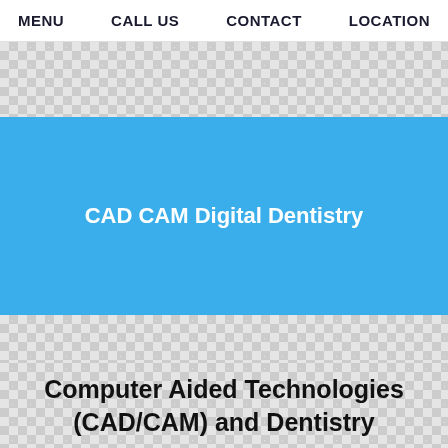MENU   CALL US   CONTACT   LOCATION
[Figure (other): Decorative diamond/crosshatch pattern background banner in light gray]
CAD CAM Digital Dentistry
[Figure (other): Decorative diamond/crosshatch pattern background section in light gray]
Computer Aided Technologies (CAD/CAM) and Dentistry